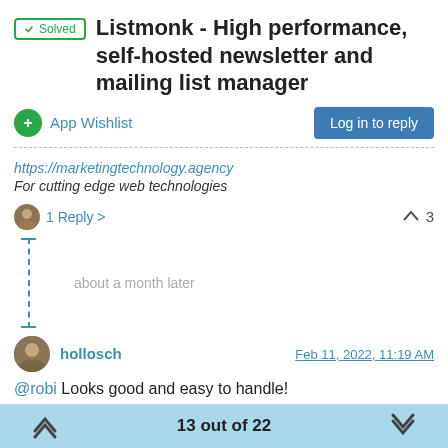✓ Solved  Listmonk - High performance, self-hosted newsletter and mailing list manager
App Wishlist
Log in to reply
https://marketingtechnology.agency
For cutting edge web technologies
1 Reply >
about a month later
hollosch  Feb 11, 2022, 11:19 AM
@robi Looks good and easy to handle!
13 out of 22